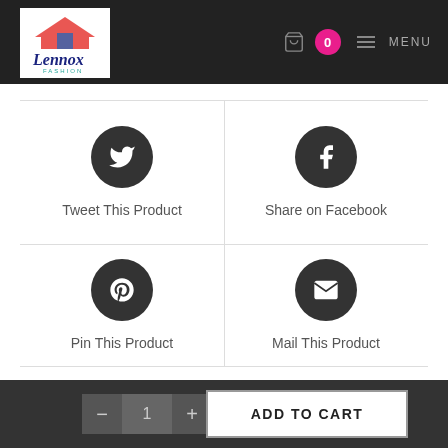[Figure (logo): Lennox Fashion logo with house/roof icon and script text, white background]
[Figure (screenshot): Shopping bag icon with pink badge showing 0, and hamburger menu icon with MENU text in header]
[Figure (infographic): 2x2 grid of social sharing buttons: Twitter bird icon labeled Tweet This Product, Facebook f icon labeled Share on Facebook, Pinterest p icon labeled Pin This Product, envelope icon labeled Mail This Product]
Tweet This Product
Share on Facebook
Pin This Product
Mail This Product
- 1 + ADD TO CART